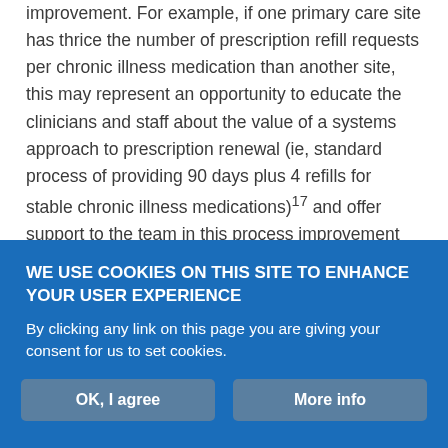improvement. For example, if one primary care site has thrice the number of prescription refill requests per chronic illness medication than another site, this may represent an opportunity to educate the clinicians and staff about the value of a systems approach to prescription renewal (ie, standard process of providing 90 days plus 4 refills for stable chronic illness medications)17 and offer support to the team in this process improvement implementation.

At other times variation in care will identify appropriate customization. For example, a practice with a high percentage of office workers who commute to work past the clinic site may find that early morning hours are popular with their patients, whereas a
WE USE COOKIES ON THIS SITE TO ENHANCE YOUR USER EXPERIENCE
By clicking any link on this page you are giving your consent for us to set cookies.